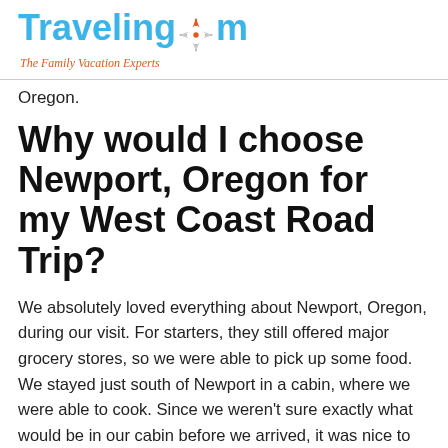TravelingMom — The Family Vacation Experts
Oregon.
Why would I choose Newport, Oregon for my West Coast Road Trip?
We absolutely loved everything about Newport, Oregon, during our visit. For starters, they still offered major grocery stores, so we were able to pick up some food. We stayed just south of Newport in a cabin, where we were able to cook. Since we weren't sure exactly what would be in our cabin before we arrived, it was nice to be able to get to a major grocery store (there were a few) to do some shopping. Some other towns you end up having to